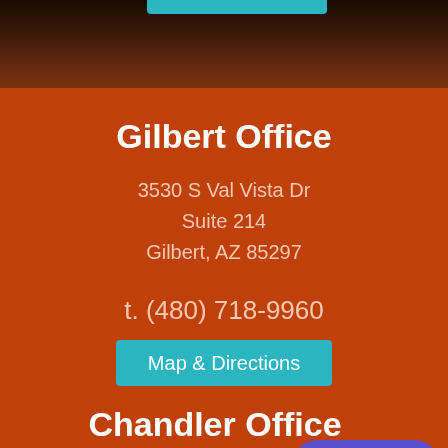[Figure (photo): Dark reddish-brown rocky texture background photo at top of page]
Gilbert Office
3530 S Val Vista Dr
Suite 214
Gilbert, AZ 85297
t. (480) 718-9960
Map & Directions
Chandler Office
2095 W Pecos Rd
Ste A5